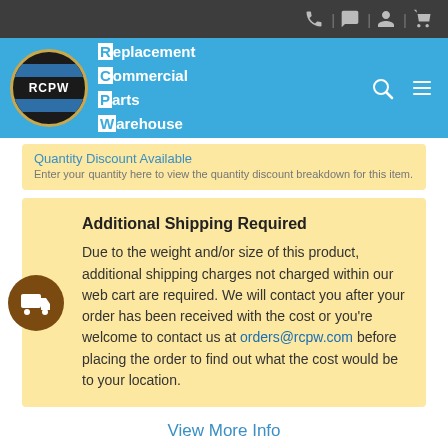[Figure (logo): RCPW Replacement Commercial Parts Warehouse logo with navigation bar icons]
Quantity Discount Available
Enter your quantity here to view the quantity discount breakdown for this item.
Additional Shipping Required
Due to the weight and/or size of this product, additional shipping charges not charged within our web cart are required. We will contact you after your order has been received with the cost or you're welcome to contact us at orders@rcpw.com before placing the order to find out what the cost would be to your location.
View More Info
Online Price
$570.68
1